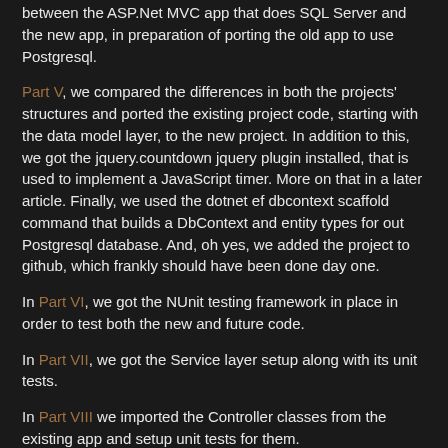between the ASP.Net MVC app that does SQL Server and the new app, in preparation of porting the old app to use Postgresql.
Part V, we compared the differences in both the projects' structures and ported the existing project code, starting with the data model layer, to the new project. In addition to this, we got the jquery.countdown jquery plugin installed, that is used to implement a JavaScript timer. More on that in a later article. Finally, we used the dotnet ef dbcontext scaffold command that builds a DbContext and entity types for out Postgresql database. And, oh yes, we added the project to github, which frankly should have been done day one.
In Part VI, we got the NUnit testing framework in place in order to test both the new and future code.
In Part VII, we got the Service layer setup along with its unit tests.
In Part VIII we imported the Controller classes from the existing app and setup unit tests for them.